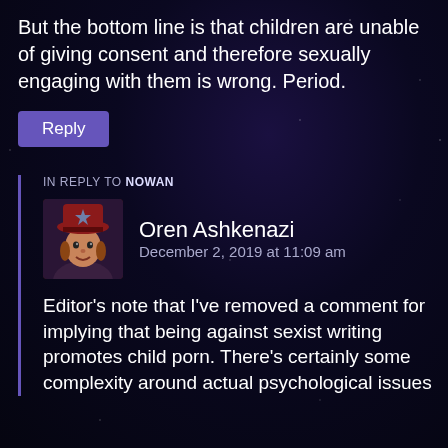But the bottom line is that children are unable of giving consent and therefore sexually engaging with them is wrong. Period.
Reply
IN REPLY TO NOWAN
Oren Ashkenazi
December 2, 2019 at 11:09 am
Editor’s note that I’ve removed a comment for implying that being against sexist writing promotes child porn. There’s certainly some complexity around actual psychological issues